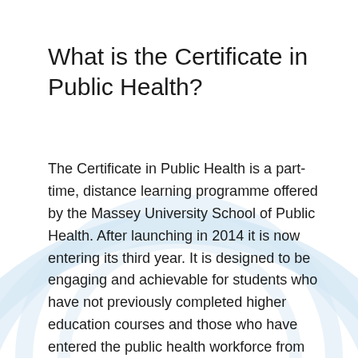What is the Certificate in Public Health?
The Certificate in Public Health is a part-time, distance learning programme offered by the Massey University School of Public Health. After launching in 2014 it is now entering its third year. It is designed to be engaging and achievable for students who have not previously completed higher education courses and those who have entered the public health workforce from other disciplines. It can be completed over one or two years. Fees grants are available for those in public health roles until 2018